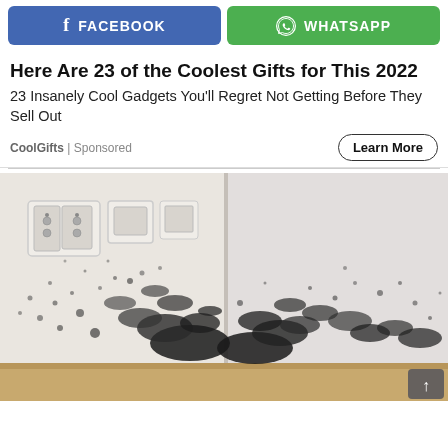[Figure (screenshot): Social sharing buttons: Facebook (blue, rounded rectangle) and WhatsApp (green, rounded rectangle) side by side]
Here Are 23 of the Coolest Gifts for This 2022
23 Insanely Cool Gadgets You'll Regret Not Getting Before They Sell Out
CoolGifts | Sponsored
Learn More
[Figure (photo): Photo of a room corner with white walls heavily covered in black mold/mildew spots, showing electrical outlets and wood baseboard flooring]